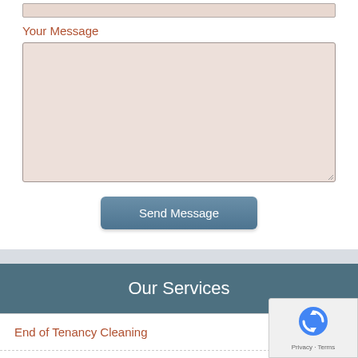Your Message
[Figure (screenshot): A form textarea input field with a pinkish-beige background, bordered with a gray outline, and a resize handle at the bottom-right corner.]
[Figure (screenshot): A 'Send Message' button with a steel-blue gradient background and white text, centered on the page.]
Our Services
End of Tenancy Cleaning
Professional Cleaning
Oven Cleaning
[Figure (screenshot): reCAPTCHA badge with blue circular arrow icon and Privacy/Terms links.]